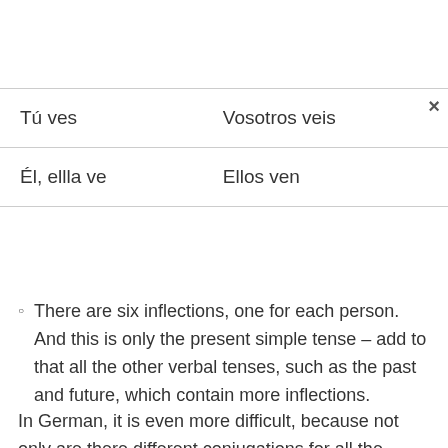| Tú ves | Vosotros veis |
| Él, ellla ve | Ellos ven |
There are six inflections, one for each person. And this is only the present simple tense – add to that all the other verbal tenses, such as the past and future, which contain more inflections.
In German, it is even more difficult, because not only are there different conjugations for all the verbs just